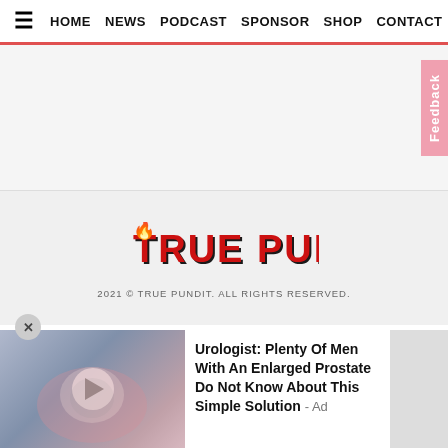≡ HOME  NEWS  PODCAST  SPONSOR  SHOP  CONTACT
[Figure (screenshot): Pink feedback tab on right side]
[Figure (logo): True Pundit logo in red bold stylized text]
2021 © TRUE PUNDIT. ALL RIGHTS RESERVED.
[Figure (illustration): Medical illustration of prostate with play button overlay]
Urologist: Plenty Of Men With An Enlarged Prostate Do Not Know About This Simple Solution - Ad